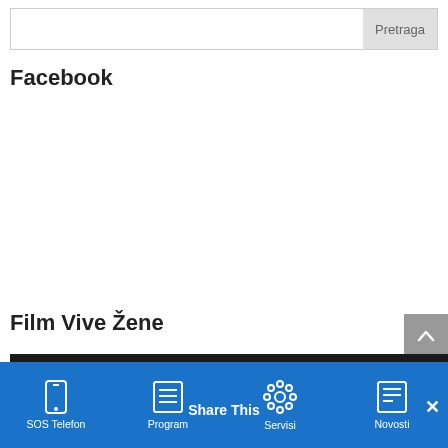[Figure (screenshot): Search bar with text input and 'Pretraga' button]
Facebook
Film Vive Žene
[Figure (screenshot): YouTube-style video embed showing VIVE ZENE Tuzla channel with circular avatar V logo, dark background, three-dot menu icon]
[Figure (screenshot): Bottom navigation bar with icons and labels: SOS Telefon, Program, Servisi, Novosti, with Share This overlay and close X button]